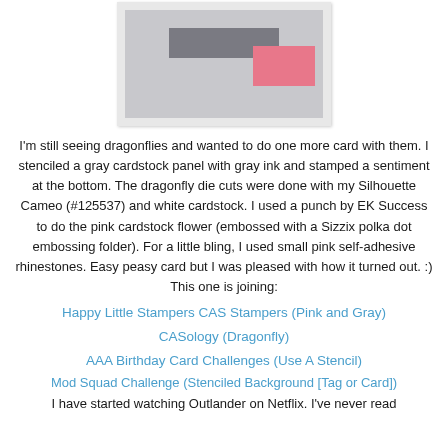[Figure (photo): A crafted card showing a gray cardstock panel with a darker gray rectangle and a pink rectangle, resembling a card-making project with dragonfly theme.]
I'm still seeing dragonflies and wanted to do one more card with them.  I stenciled a gray cardstock panel with gray ink and stamped a sentiment at the bottom.  The dragonfly die cuts were done with my Silhouette Cameo (#125537) and white cardstock.  I used a punch by EK Success to do the pink cardstock flower (embossed with a Sizzix polka dot embossing folder).  For a little bling, I used small pink self-adhesive rhinestones.  Easy peasy card but I was pleased with how it turned out.  :)  This one is joining:
Happy Little Stampers CAS Stampers (Pink and Gray)
CASology (Dragonfly)
AAA Birthday Card Challenges (Use A Stencil)
Mod Squad Challenge (Stenciled Background [Tag or Card])
I have started watching Outlander on Netflix.  I've never read